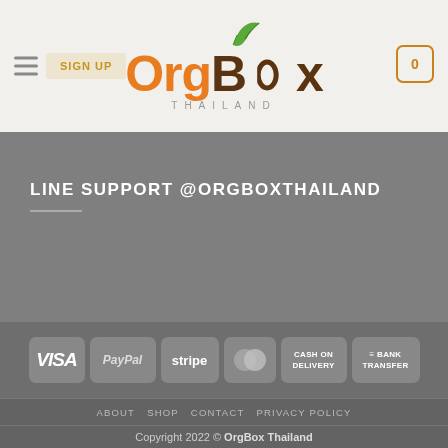[Figure (logo): OrgBox Thailand logo with orange 'Org' and brown 'Box' text and green leaf icon above]
LINE SUPPORT @ORGBOXTHAILAND
[Figure (infographic): Payment method icons: VISA, PayPal, stripe, MasterCard, CASH ON DELIVERY, BANK TRANSFER]
ABOUT  SHOP  CONTACT  PRIVACY POLICY
Copyright 2022 © OrgBox Thailand